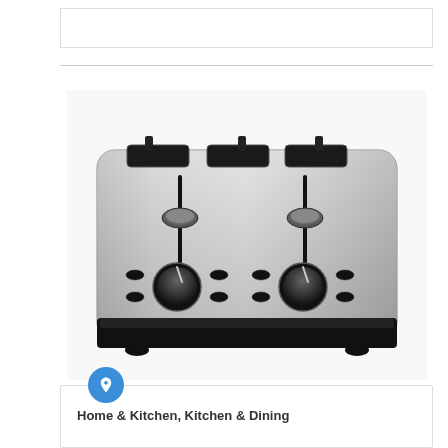[Figure (photo): A stainless steel 4-slice toaster with two black control dials and lever mechanisms, viewed from the front at a slight angle.]
Home & Kitchen, Kitchen & Dining